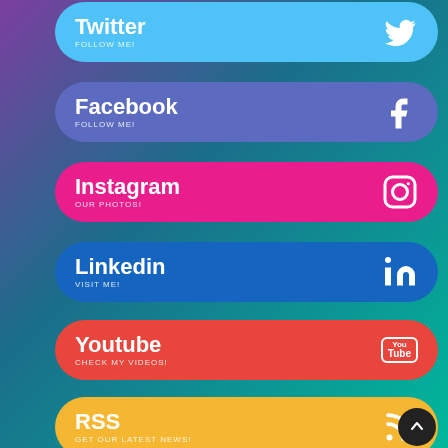Twitter — FOLLOW ME!
Facebook — FOLLOW ME!
Instagram — OUR PHOTOS!
Linkedin — VISIT ME!
Youtube — CHECK MY VIDEOS!
RSS — GET OUR LATEST NEWS!